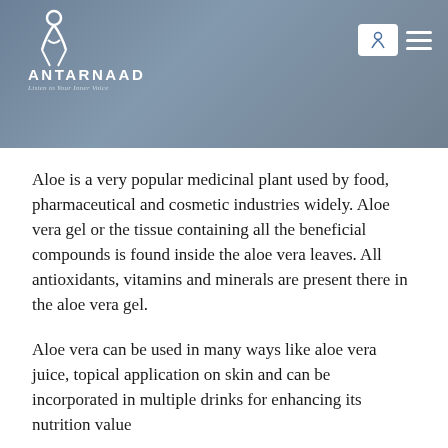ANTARNAAD — Listen to Your Inner Voice
Aloe is a very popular medicinal plant used by food, pharmaceutical and cosmetic industries widely. Aloe vera gel or the tissue containing all the beneficial compounds is found inside the aloe vera leaves. All antioxidants, vitamins and minerals are present there in the aloe vera gel.
Aloe vera can be used in many ways like aloe vera juice, topical application on skin and can be incorporated in multiple drinks for enhancing its nutrition value